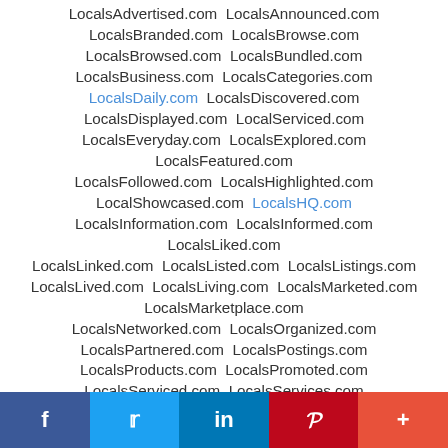LocalsAdvertised.com  LocalsAnnounced.com
LocalsBranded.com  LocalsBrowse.com
LocalsBrowsed.com  LocalsBundled.com
LocalsBusiness.com  LocalsCategories.com
LocalsDaily.com  LocalsDiscovered.com
LocalsDisplayed.com  LocalServiced.com
LocalsEveryday.com  LocalsExplored.com
LocalsFeatured.com
LocalsFollowed.com  LocalsHighlighted.com
LocalShowcased.com  LocalsHQ.com
LocalsInformation.com  LocalsInformed.com
LocalsLiked.com
LocalsLinked.com  LocalsListed.com  LocalsListings.com
LocalsLived.com  LocalsLiving.com  LocalsMarketed.com
LocalsMarketplace.com
LocalsNetworked.com  LocalsOrganized.com
LocalsPartnered.com  LocalsPostings.com
LocalsProducts.com  LocalsPromoted.com
LocalsServiced.com  LocalsServices.com
f  [Twitter]  in  P  +